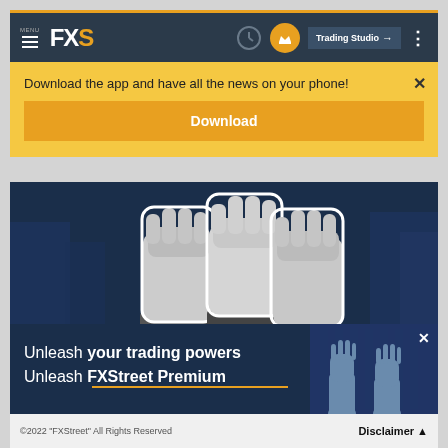MENU FXS | Trading Studio
Download the app and have all the news on your phone!
Download
[Figure (photo): Three raised fists against a dark blue urban background, black and white cutout style]
[Figure (infographic): Ad banner: Unleash your trading powers / Unleash FXStreet Premium with fist imagery on dark blue background]
©2022 "FXStreet" All Rights Reserved   Disclaimer